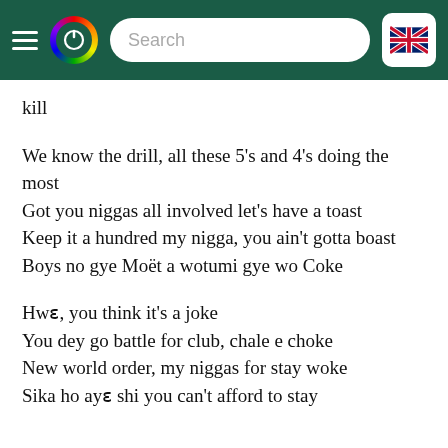Search [navigation bar with hamburger, logo, search, UK flag]
kill

We know the drill, all these 5's and 4's doing the most
Got you niggas all involved let's have a toast
Keep it a hundred my nigga, you ain't gotta boast
Boys no gye Moët a wotumi gye wo Coke

Hwɛ, you think it's a joke
You dey go battle for club, chale e choke
New world order, my niggas for stay woke
Sika ho ayɛ shi you can't afford to stay